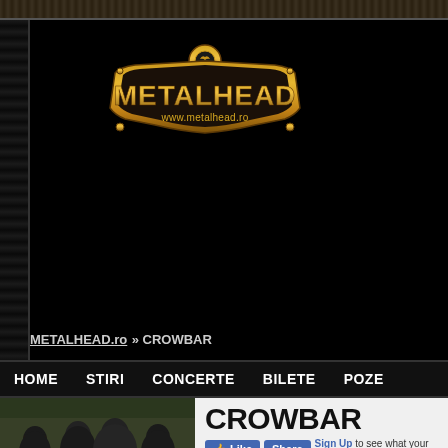[Figure (logo): Metalhead.ro logo — golden shield/crest with bat, text METALHEAD and www.metalhead.ro]
METALHEAD.ro » CROWBAR
HOME   STIRI   CONCERTE   BILETE   POZE
[Figure (photo): Photo of Crowbar band members standing outdoors in dark clothing]
CROWBAR
Like  Share  Sign Up to see what your friend...
Stiluri: Sludge